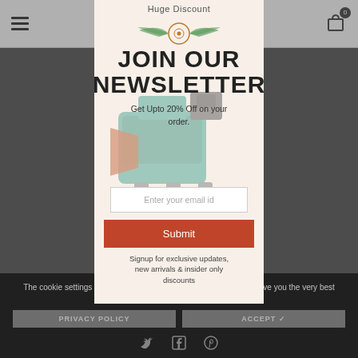[Figure (screenshot): Website background with navigation bar (hamburger menu on left, shopping cart with 0 badge on right) and a product image of a teal industrial machine]
Huge Discount
JOIN OUR NEWSLETTER
Get Upto 20% Off on your order.
Enter your email id
Submit
Signup for exclusive updates, new arrivals & insider only discounts
The cookie settings on this website are set to 'allow all cookies' to give you the very best experience. Please click Accept only the site.
PRIVACY POLICY
ACCEPT ✓